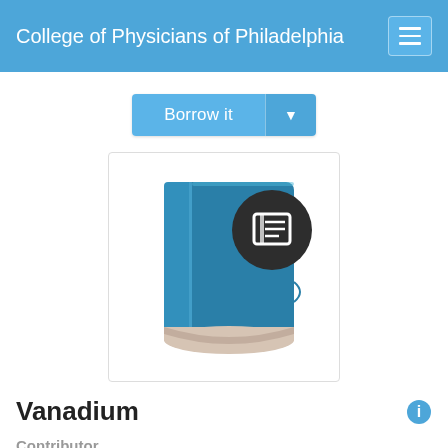College of Physicians of Philadelphia
[Figure (screenshot): Borrow it button with dropdown arrow]
[Figure (illustration): Book icon with a dark circular badge showing a book/document symbol]
Vanadium
Contributor
World Health Organization
International Program on Chemical